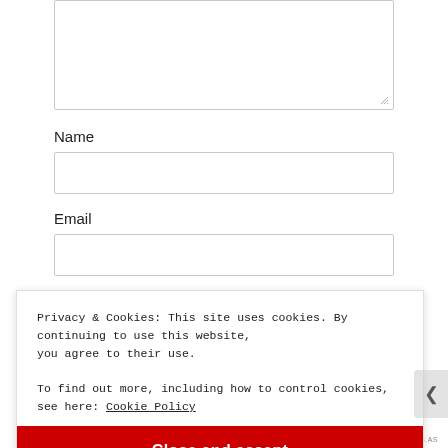[Figure (screenshot): Partial textarea form field at top of page, cut off]
Name
[Figure (screenshot): Name input text field]
Email
[Figure (screenshot): Email input text field]
Privacy & Cookies: This site uses cookies. By continuing to use this website, you agree to their use.
To find out more, including how to control cookies, see here: Cookie Policy
[Figure (screenshot): Close and accept button (red)]
AIRPORT-1103.AS